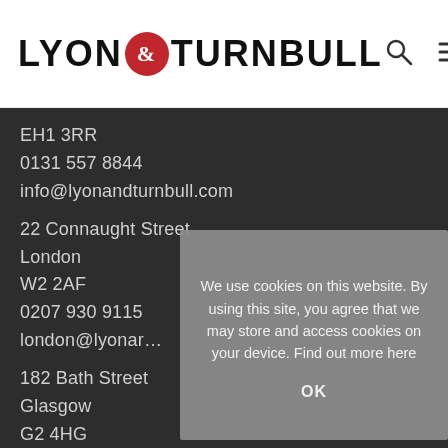[Figure (logo): Lyon & Turnbull auction house logo with red circular ampersand]
EH1 3RR
0131 557 8844
info@lyonandturnbull.com
22 Connaught Street
London
W2 2AF
0207 930 9115
london@lyonar…
182 Bath Street
Glasgow
G2 4HG
0141 333 1992
glasgow@lyona…
We use cookies on this website. By using this site, you agree that we may store and access cookies on your device. Find out more here
OK